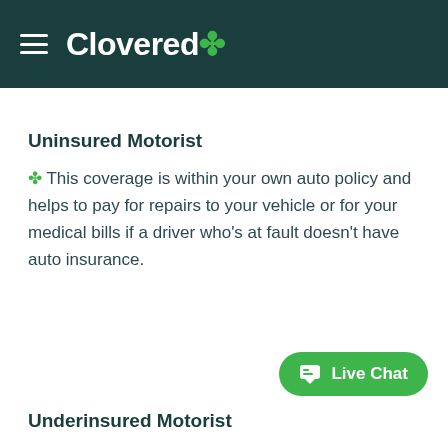Clovered
Uninsured Motorist
This coverage is within your own auto policy and helps to pay for repairs to your vehicle or for your medical bills if a driver who's at fault doesn't have auto insurance.
Underinsured Motorist